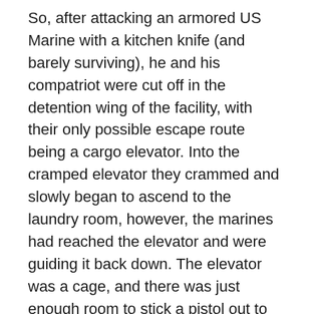So, after attacking an armored US Marine with a kitchen knife (and barely surviving), he and his compatriot were cut off in the detention wing of the facility, with their only possible escape route being a cargo elevator. Into the cramped elevator they crammed and slowly began to ascend to the laundry room, however, the marines had reached the elevator and were guiding it back down. The elevator was a cage, and there was just enough room to stick a pistol out to maybe shoot out the counter weights to release the elevator. The other guy took the shot. After much random ricocheting, the bullet hit the mercenary between the eyes.
Major Russ Carmady, Olympus, Groomsbridge 1619
Major Russ was a big fan of planning out his defenses, so when they landed to secure a drop zone on a strange